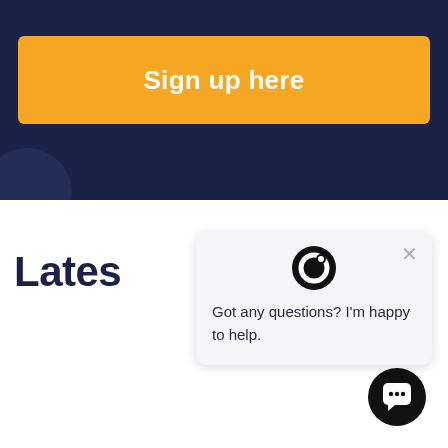[Figure (screenshot): Dark navy blue banner section with an orange 'Sign up here' button and a partially visible circle decoration at bottom left]
Sign up here
Lates
[Figure (infographic): Chat popup widget with a circular 'P' logo icon, a close X button, and the message 'Got any questions? I'm happy to help.']
Got any questions? I'm happy to help.
[Figure (logo): Black circular chat button icon at bottom right corner]